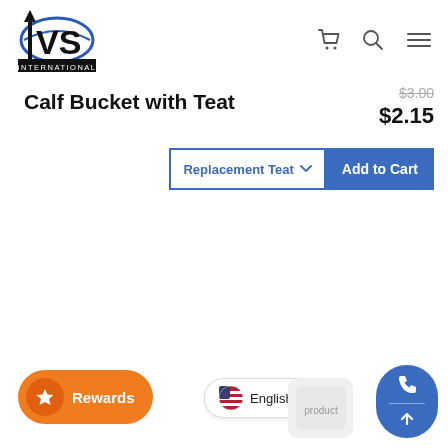[Figure (logo): IVS International logo — black arrow and VS letters with globe arc, text 'INTERNATIONAL' below]
Calf Bucket with Teat
$3.00 (strikethrough) $2.15
Replacement Teat ▾   Add to Cart
[Figure (other): Rewards orange pill button with star icon and text 'Rewards']
English >
[Figure (other): Blue pill button with phone icon and up-arrow for contact/scroll-to-top]